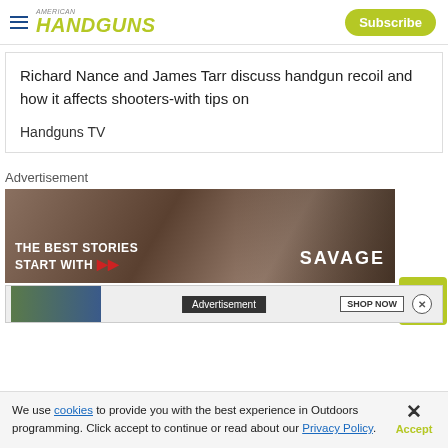HANDGUNS
Richard Nance and James Tarr discuss handgun recoil and how it affects shooters-with tips on
Handguns TV
Advertisement
[Figure (photo): Savage Arms advertisement showing hands holding a rifle with scope and text 'THE BEST STORIES START WITH SAVAGE']
[Figure (screenshot): Second advertisement bar with 'Advertisement' label, 'SHOP NOW' button, and close button]
We use cookies to provide you with the best experience in Outdoors programming. Click accept to continue or read about our Privacy Policy.